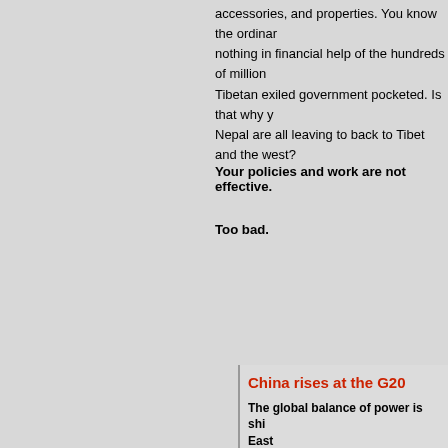accessories, and properties. You know the ordinary Tibetans have nothing in financial help of the hundreds of millions that the Tibetan exiled government pocketed. Is that why you, the Tibetans in Nepal are all leaving to back to Tibet and the west?
Your policies and work are not effective.
Too bad.
China rises at the G20
The global balance of power is shifting to the East
Tensions loom over Argentina, which hosts the 2018 summit of the G20 which starts today. The G20 is an international forum of the heads of state of 19 major economies to discuss global economic challenges. And the tensions are mounting.
Globalization is in reverse, as the U... escalate its trade war with China an...